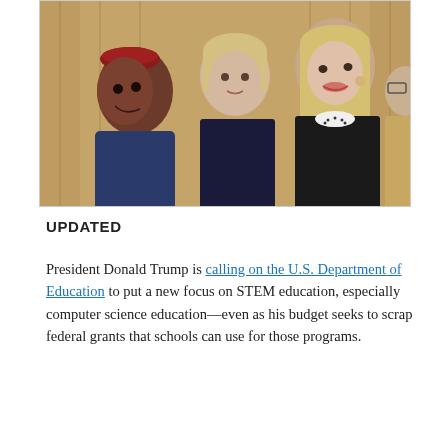[Figure (photo): A group of people in what appears to be the Oval Office. A young Black girl with a red headband is smiling and looking up at a blonde woman in a black dress with a white embellished collar. An older blonde woman in a dark blazer stands in the center, and a partially visible older woman is on the right. Gold curtains are visible in the background.]
UPDATED
President Donald Trump is calling on the U.S. Department of Education to put a new focus on STEM education, especially computer science education—even as his budget seeks to scrap federal grants that schools can use for those programs.